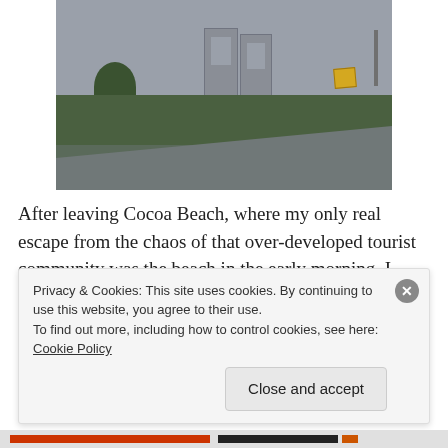[Figure (photo): A road scene with green grass, trees, large rectangular industrial buildings (likely Vehicle Assembly Building at Kennedy Space Center) in the background against a grey sky, a yellow road sign, a streetlight, and a car on the road.]
After leaving Cocoa Beach, where my only real escape from the chaos of that over-developed tourist community was the beach in the early morning, I headed to Merritt Island National Wildlife Refuge and Canaveral National
Privacy & Cookies: This site uses cookies. By continuing to use this website, you agree to their use.
To find out more, including how to control cookies, see here: Cookie Policy
Close and accept